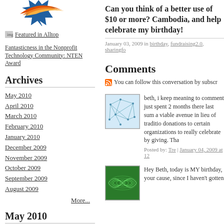[Figure (logo): Sunburst logo with orange and blue rays]
[Figure (other): Featured in Alltop badge/image with text 'Featured in Alltop']
Fantasticness in the Nonprofit Technology Community: NTEN Award
Archives
May 2010
April 2010
March 2010
February 2010
January 2010
December 2009
November 2009
October 2009
September 2009
August 2009
More...
May 2010
| Sun | Mon | Tue | Wed | Thu | Fri | Sat |
| --- | --- | --- | --- | --- | --- | --- |
|  |  |  |  |  |  | 1 |
| 2 | 3 | 4 | 5 | 6 | 7 | 8 |
| 9 | 10 | 11 | 12 | 13 | 14 | 15 |
| 16 | 17 | 18 | 19 | 20 | 21 | 22 |
Can you think of a better use of $10 or more? Cambodia, and help celebrate my birthday!
January 03, 2009 in birthday, fundraising2.0, sharingfo
Comments
You can follow this conversation by subscr
beth, i keep meaning to comment just spent 2 months there last sum a viable avenue in lieu of traditio donations to certain organizations to really celebrate by giving. Tha
Posted by: Tre | January 04, 2009 at 12
Hey Beth, today is MY birthday, your cause, since I haven't gotten